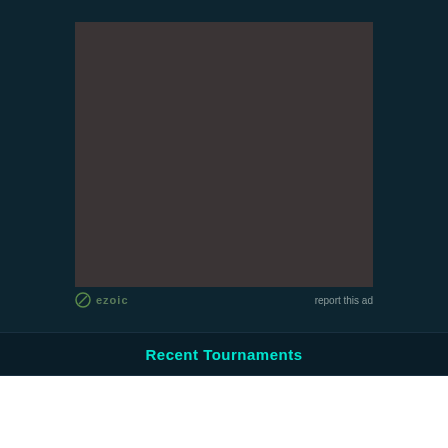[Figure (other): Advertisement placeholder box with dark brownish-gray background (ezoic ad unit)]
ezoic   report this ad
Recent Tournaments